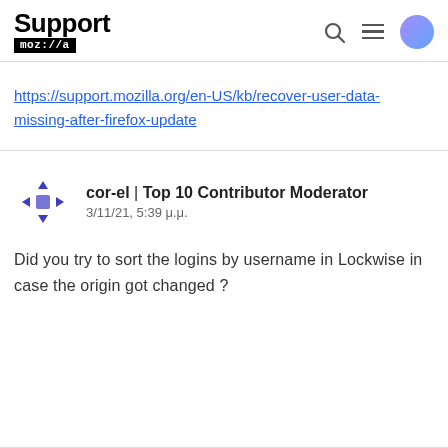Support mozilla // a
https://support.mozilla.org/en-US/kb/recover-user-data-missing-after-firefox-update
cor-el | Top 10 Contributor Moderator
3/11/21, 5:39 μ.μ.

Did you try to sort the logins by username in Lockwise in case the origin got changed ?